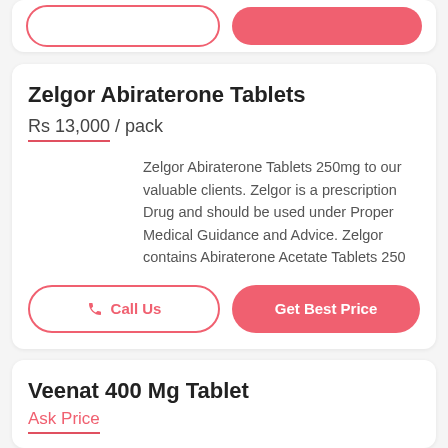Zelgor Abiraterone Tablets
Rs 13,000 / pack
Zelgor Abiraterone Tablets 250mg to our valuable clients. Zelgor is a prescription Drug and should be used under Proper Medical Guidance and Advice. Zelgor contains Abiraterone Acetate Tablets 250
Call Us
Get Best Price
Veenat 400 Mg Tablet
Ask Price